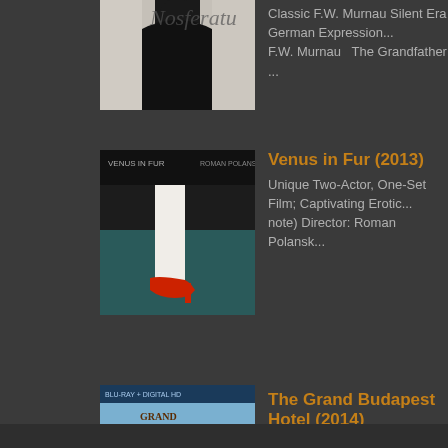[Figure (photo): Nosferatu movie cover image, black and white, partially cropped at top]
Classic F.W. Murnau Silent Era German Expression... F.W. Murnau   The Grandfather ...
[Figure (photo): Venus in Fur (2013) movie poster showing a woman's leg in a red high heel shoe]
Venus in Fur (2013)
Unique Two-Actor, One-Set Film; Captivating Erotic... note) Director: Roman Polansk...
[Figure (photo): The Grand Budapest Hotel (2014) Blu-ray cover showing a large pink hotel building]
The Grand Budapest Hotel (2014)
Magnificent Story Told Magnificently Well ★★★★★ my head at times wondering ...